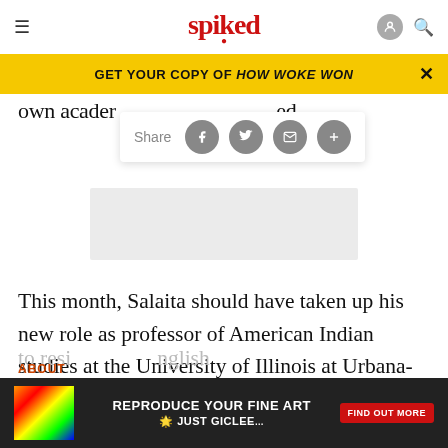spiked
[Figure (screenshot): Yellow promotional banner reading GET YOUR COPY OF HOW WOKE WON with close button]
own acade... ed.
[Figure (screenshot): Share toolbar with Facebook, Twitter, email, and plus icons]
[Figure (other): Grey advertisement placeholder box]
This month, Salaita should have taken up his new role as professor of American Indian studies at the University of Illinois at Urbana-Champaign. The job offer, which Salaita considered enough of a done deal
to resi... nglish
ABOUT
[Figure (screenshot): Bottom dark advertisement banner: REPRODUCE YOUR FINE ART JUST GICLEE with FIND OUT MORE button]